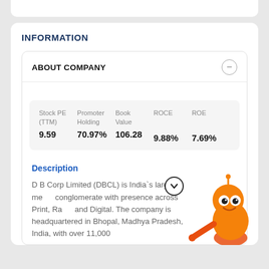INFORMATION
ABOUT COMPANY
| Stock PE (TTM) | Promoter Holding | Book Value | ROCE | ROE |
| --- | --- | --- | --- | --- |
| 9.59 | 70.97% | 106.28 | 9.88% | 7.69% |
Description
D B Corp Limited (DBCL) is India`s largest media conglomerate with presence across Print, Radio and Digital. The company is headquartered in Bhopal, Madhya Pradesh, India, with over 11,000